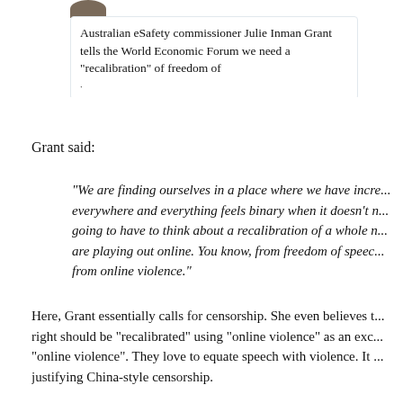[Figure (screenshot): Screenshot of a tweet or social media post showing a partial avatar image and text reading 'Australian eSafety commissioner Julie Inman Grant tells the World Economic Forum we need a "recalibration" of freedom of']
Grant said:
“We are finding ourselves in a place where we have incr... everywhere and everything feels binary when it doesn’t n... going to have to think about a recalibration of a whole n... are playing out online. You know, from freedom of speec... from online violence.”
Here, Grant essentially calls for censorship. She even believes t... right should be “recalibrated” using “online violence” as an exc... “online violence”. They love to equate speech with violence. It ... justifying China-style censorship.